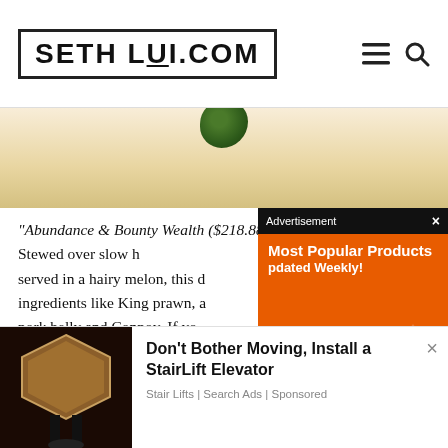SETHLUI.COM
[Figure (photo): Hero/banner image with blurred light background and dark green blob at top center]
“Abundance & Bounty Wealth... ($218.88). Stewed over slow h... served in a hairy melon, this d... ingredients like King prawn, a... pork belly and Conpoy. If yo... wouldn’t recommend getting this dish as the ingredients... it is the... difficult
[Figure (screenshot): Advertisement overlay showing ‘Most Popular Products Updated Weekly!’ on orange background with product silhouette icons]
[Figure (photo): Bottom advertisement showing a dark hexagonal side table and text ‘Don’t Bother Moving, Install a StairLift Elevator’ by Stair Lifts | Search Ads | Sponsored]